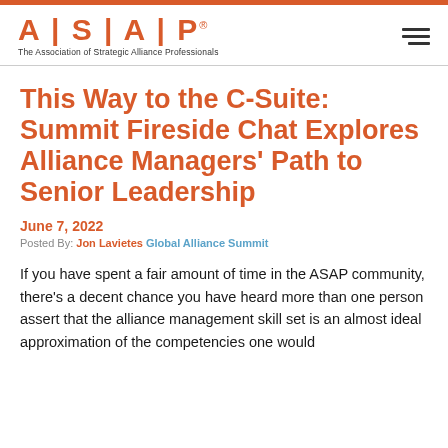ASAP | The Association of Strategic Alliance Professionals
This Way to the C-Suite: Summit Fireside Chat Explores Alliance Managers' Path to Senior Leadership
June 7, 2022
Posted By: Jon Lavietes Global Alliance Summit
If you have spent a fair amount of time in the ASAP community, there’s a decent chance you have heard more than one person assert that the alliance management skill set is an almost ideal approximation of the competencies one would